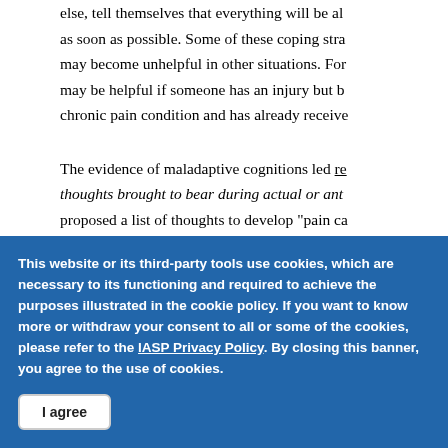else, tell themselves that everything will be all right as soon as possible. Some of these coping strategies may become unhelpful in other situations. For example, may be helpful if someone has an injury but becomes a chronic pain condition and has already received
The evidence of maladaptive cognitions led researchers to examine thoughts brought to bear during actual or anticipated pain; proposed a list of thoughts to develop "pain coping" scales; these scales opened the opportunity to explore in both clinical and experimental research. The term "
This website or its third-party tools use cookies, which are necessary to its functioning and required to achieve the purposes illustrated in the cookie policy. If you want to know more or withdraw your consent to all or some of the cookies, please refer to the IASP Privacy Policy. By closing this banner, you agree to the use of cookies.